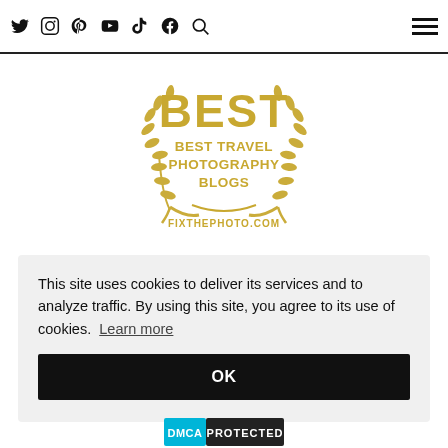Social media icons and navigation menu
[Figure (logo): Gold laurel wreath badge with text 'BEST TRAVEL PHOTOGRAPHY BLOGS' and 'FIXTHEPHOTO.COM']
This site uses cookies to deliver its services and to analyze traffic. By using this site, you agree to its use of cookies. Learn more
[Figure (other): Black OK button]
[Figure (logo): DMCA PROTECTED badge]